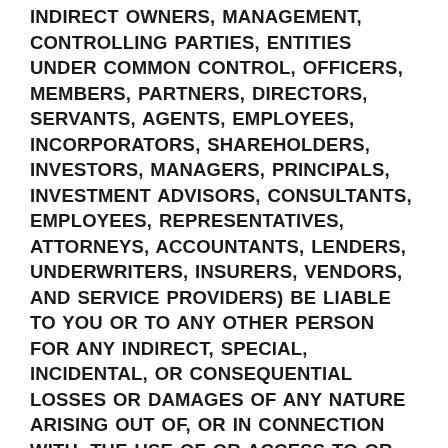INDIRECT OWNERS, MANAGEMENT, CONTROLLING PARTIES, ENTITIES UNDER COMMON CONTROL, OFFICERS, MEMBERS, PARTNERS, DIRECTORS, SERVANTS, AGENTS, EMPLOYEES, INCORPORATORS, SHAREHOLDERS, INVESTORS, MANAGERS, PRINCIPALS, INVESTMENT ADVISORS, CONSULTANTS, EMPLOYEES, REPRESENTATIVES, ATTORNEYS, ACCOUNTANTS, LENDERS, UNDERWRITERS, INSURERS, VENDORS, AND SERVICE PROVIDERS) BE LIABLE TO YOU OR TO ANY OTHER PERSON FOR ANY INDIRECT, SPECIAL, INCIDENTAL, OR CONSEQUENTIAL LOSSES OR DAMAGES OF ANY NATURE ARISING OUT OF, OR IN CONNECTION WITH, THE USE OF OR ACCESS TO OR INABILITY TO USE OR ACCESS THIS WEBSITE, INCLUDING, WITHOUT LIMITATION, DAMAGES FOR LOST PROFITS, LOSS OF GOODWILL, LOSS OF DATA, WORK STOPPAGE, ACCURACY OF RESULTS, OR COMPUTER FAILURE OR MALFUNCTION, DAMAGE TO YOUR OR A THIRD PERSON'S COMPUTER AND/OR ITS CONTENTS, EVEN IF AN AUTHORIZED REPRESENTATIVE OF JIMMY JOHN'S HAS BEEN